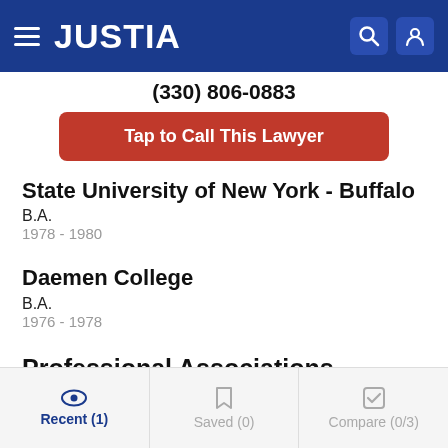JUSTIA
(330) 806-0883
Tap to Call This Lawyer
State University of New York - Buffalo
B.A.
1978 - 1980
Daemen College
B.A.
1976 - 1978
Professional Associations
Recent (1)   Saved (0)   Compare (0/3)